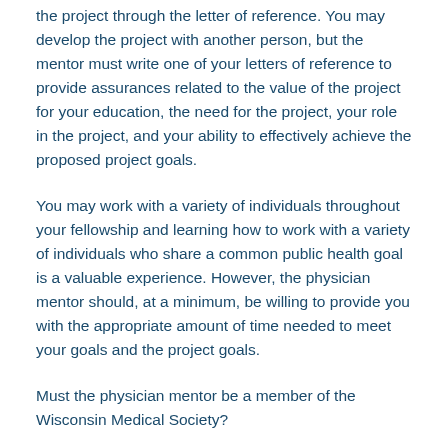the project through the letter of reference. You may develop the project with another person, but the mentor must write one of your letters of reference to provide assurances related to the value of the project for your education, the need for the project, your role in the project, and your ability to effectively achieve the proposed project goals.
You may work with a variety of individuals throughout your fellowship and learning how to work with a variety of individuals who share a common public health goal is a valuable experience. However, the physician mentor should, at a minimum, be willing to provide you with the appropriate amount of time needed to meet your goals and the project goals.
Must the physician mentor be a member of the Wisconsin Medical Society?